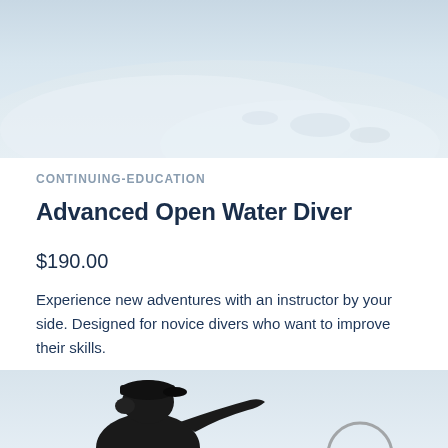[Figure (photo): Top portion of an underwater/ocean scene with pale blue-grey sky and water, cropped photo at the top of the page]
CONTINUING-EDUCATION
Advanced Open Water Diver
$190.00
Experience new adventures with an instructor by your side. Designed for novice divers who want to improve their skills.
[Figure (photo): Person wearing a dark baseball cap and dark clothing, viewed from behind, with arm raised, against a light sky background — partial crop at bottom of page]